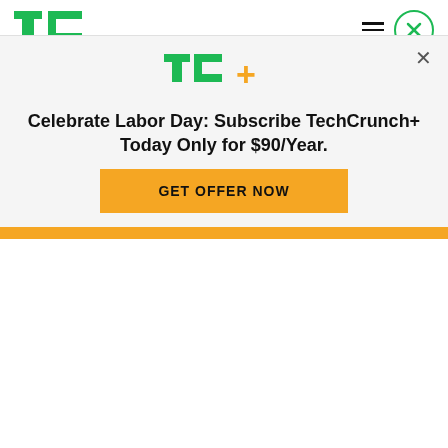TechCrunch
to provide the tenants with a basic level of security.
David Cowan, BVP
“We don’t have to raise capital again unless we want to,” Sullivan said. In fact, he says they are operating now the way a business should be,
[Figure (logo): TechCrunch TC+ logo in green and yellow]
Celebrate Labor Day: Subscribe TechCrunch+ Today Only for $90/Year.
GET OFFER NOW